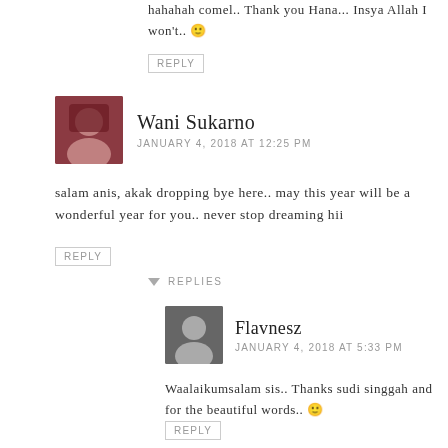hahahah comel.. Thank you Hana... Insya Allah I won't.. 🙂
REPLY
Wani Sukarno
JANUARY 4, 2018 AT 12:25 PM
salam anis, akak dropping bye here.. may this year will be a wonderful year for you.. never stop dreaming hii
REPLY
REPLIES
Flavnesz
JANUARY 4, 2018 AT 5:33 PM
Waalaikumsalam sis.. Thanks sudi singgah and for the beautiful words.. 🙂
REPLY